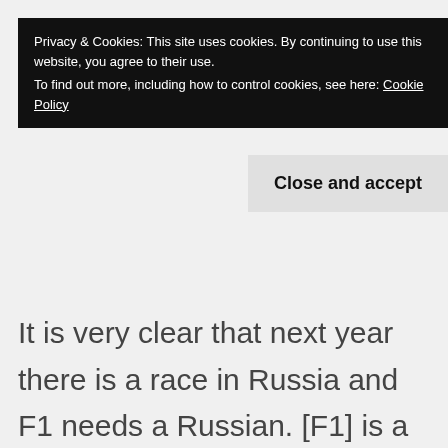Privacy & Cookies: This site uses cookies. By continuing to use this website, you agree to their use.
To find out more, including how to control cookies, see here: Cookie Policy
Close and accept
It is very clear that next year there is a race in Russia and F1 needs a Russian. [F1] is a category with a lot of politics and [Kvyat] is sponsored by a Russian bank,